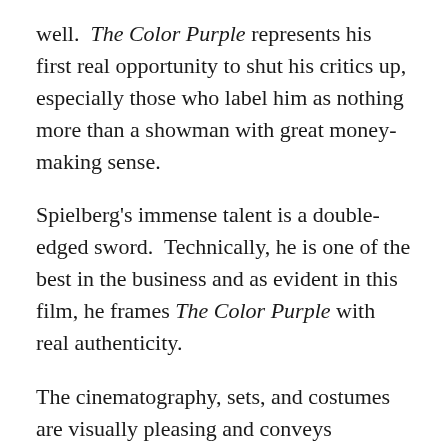well.  The Color Purple represents his first real opportunity to shut his critics up, especially those who label him as nothing more than a showman with great money-making sense.
Spielberg's immense talent is a double-edged sword.  Technically, he is one of the best in the business and as evident in this film, he frames The Color Purple with real authenticity.
The cinematography, sets, and costumes are visually pleasing and conveys excellently (though not completely) the spirit of that bygone era.  And in Quincy Jones, he has a music master whose rich, lush score accentuates the picturesque scenes beautifully.